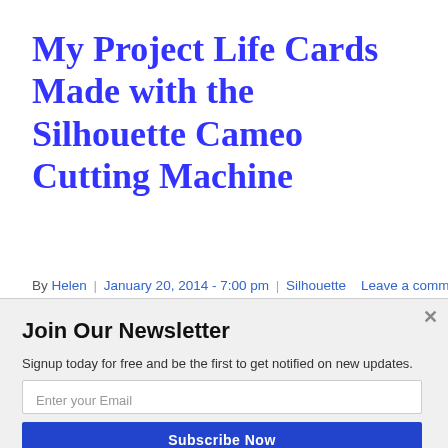My Project Life Cards Made with the Silhouette Cameo Cutting Machine
By Helen | January 20, 2014 - 7:00 pm | Silhouette    Leave a comment
I've been working with my Silhouette Cameo making week number cards for my Project Life album 2014.  Here are the week number
Join Our Newsletter
Signup today for free and be the first to get notified on new updates.
Enter your Email
Subscribe Now